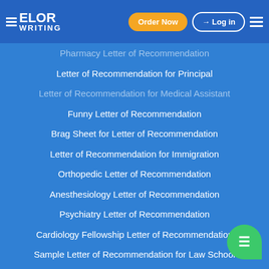ELOR WRITING — Order Now | Log in
Pharmacy Letter of Recommendation
Letter of Recommendation for Principal
Letter of Recommendation for Medical Assistant
Funny Letter of Recommendation
Brag Sheet for Letter of Recommendation
Letter of Recommendation for Immigration
Orthopedic Letter of Recommendation
Anesthesiology Letter of Recommendation
Psychiatry Letter of Recommendation
Cardiology Fellowship Letter of Recommendation
Sample Letter of Recommendation for Law School
Sample Letter of Recommendation Residency
Letter of Recommendation for Nursing School
Grad School Letter of Recommendation
Letter of Recommendation Dermatology Residency